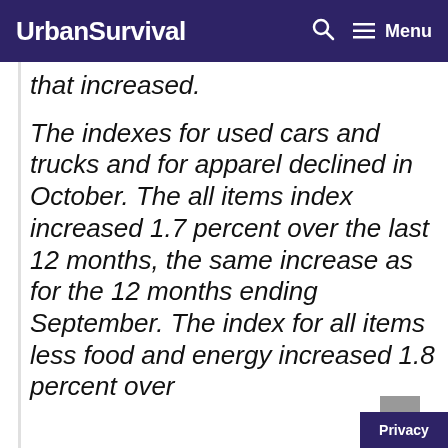UrbanSurvival  🔍  ≡ Menu
that increased.
The indexes for used cars and trucks and for apparel declined in October. The all items index increased 1.7 percent over the last 12 months, the same increase as for the 12 months ending September. The index for all items less food and energy increased 1.8 percent over